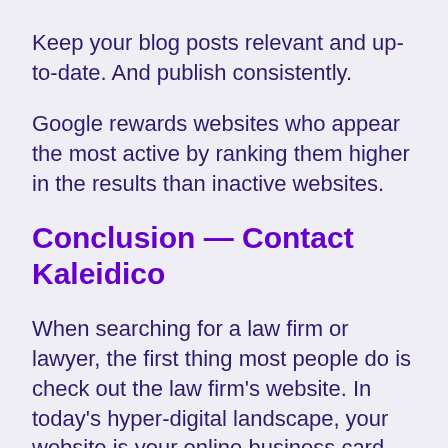Keep your blog posts relevant and up-to-date. And publish consistently.
Google rewards websites who appear the most active by ranking them higher in the results than inactive websites.
Conclusion — Contact Kaleidico
When searching for a law firm or lawyer, the first thing most people do is check out the law firm's website. In today's hyper-digital landscape, your website is your online business card.
And to make a solid first impression, your website needs to be professional, relevant